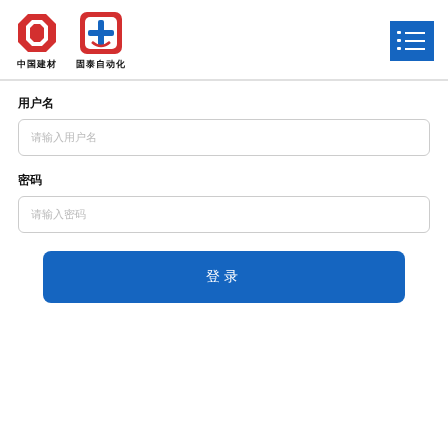[Figure (logo): Two logos side by side: left is 中国建材 (octagon red logo), right is 固泰自动化 (red square logo with face/smile icon). Text labels below each.]
[Figure (other): Blue hamburger/menu button in top right corner with three horizontal lines and dots]
用户名
请输入用户名
密码
请输入密码
登录